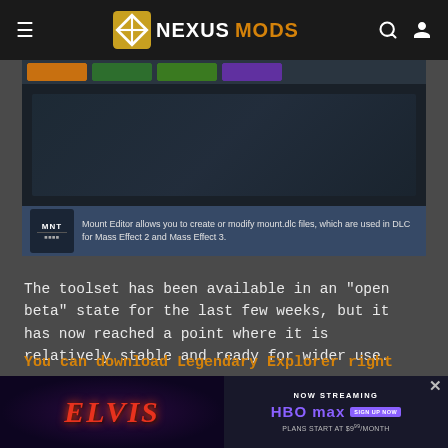NEXUSMODS
[Figure (screenshot): Screenshot of a game modding tool UI with colored tab buttons (orange, green, green, purple) and a dark interface background. A tooltip at the bottom shows the MNT icon and text: 'Mount Editor allows you to create or modify mount.dlc files, which are used in DLC for Mass Effect 2 and Mass Effect 3.']
The toolset has been available in an "open beta" state for the last few weeks, but it has now reached a point where it is relatively stable and ready for wider use.
You can download Legendary Explorer right now from the mod page.
The too... t, but we've se... king with the...
[Figure (advertisement): HBO Max advertisement for Elvis movie. Left side shows dark purple background with ELVIS title in red italic text. Right side shows NOW STREAMING, HBO MAX logo with SIGN UP NOW button, and PLANS START AT $9.99/MONTH text. X close button in top right.]